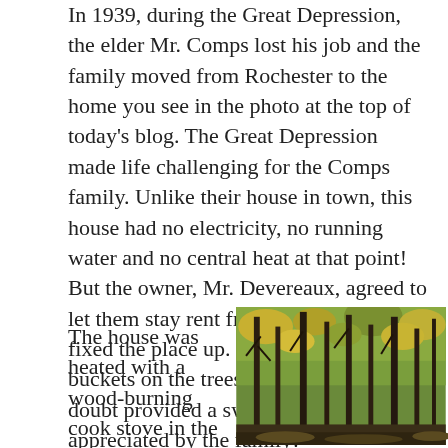In 1939, during the Great Depression, the elder Mr. Comps lost his job and the family moved from Rochester to the home you see in the photo at the top of today's blog. The Great Depression made life challenging for the Comps family. Unlike their house in town, this house had no electricity, no running water and no central heat at that point! But the owner, Mr. Devereaux, agreed to let them stay rent free for a year if they fixed the place up. So the maple syrup buckets on the trees in the photo no doubt provided a sweet treat much appreciated by the family!
The house was heated with a wood-burning cook stove in the kitchen and another in the dining
[Figure (photo): A photograph of a forest with tall trees and autumn foliage in shades of green and yellow, with vertical wooden posts visible among the trees.]